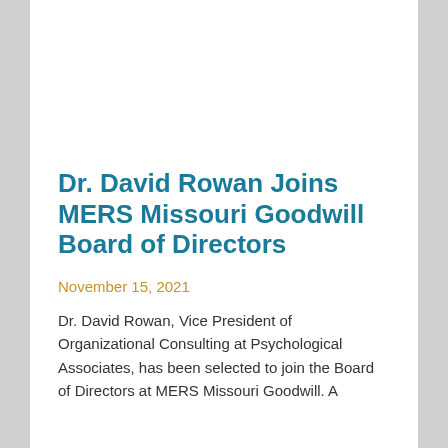Dr. David Rowan Joins MERS Missouri Goodwill Board of Directors
November 15, 2021
Dr. David Rowan, Vice President of Organizational Consulting at Psychological Associates, has been selected to join the Board of Directors at MERS Missouri Goodwill. A